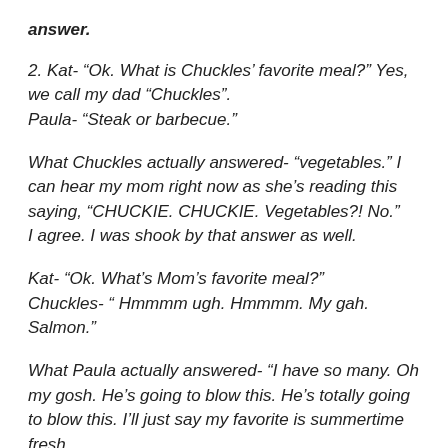answer.
2. Kat- “Ok. What is Chuckles’ favorite meal?” Yes, we call my dad “Chuckles”.
Paula- “Steak or barbecue.”
What Chuckles actually answered- “vegetables.” I can hear my mom right now as she’s reading this saying, “CHUCKIE. CHUCKIE. Vegetables?! No.”
I agree. I was shook by that answer as well.
Kat- “Ok. What’s Mom’s favorite meal?”
Chuckles- “ Hmmmm ugh. Hmmmm. My gah. Salmon.”
What Paula actually answered- “I have so many. Oh my gosh. He’s going to blow this. He’s totally going to blow this. I’ll just say my favorite is summertime fresh